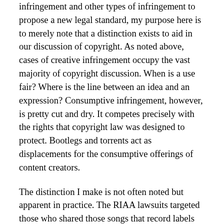infringement and other types of infringement to propose a new legal standard, my purpose here is to merely note that a distinction exists to aid in our discussion of copyright. As noted above, cases of creative infringement occupy the vast majority of copyright discussion. When is a use fair? Where is the line between an idea and an expression? Consumptive infringement, however, is pretty cut and dry. It competes precisely with the rights that copyright law was designed to protect. Bootlegs and torrents act as displacements for the consumptive offerings of content creators.
The distinction I make is not often noted but apparent in practice. The RIAA lawsuits targeted those who shared those songs that record labels offer for sale. Criminal copyright infringement charges can be brought for any type of infringement, but as far as I can determine, the only cases which have historically been brought have been against those who have engaged in widespread consumptive infringement. And while you can find a flourishing mashup scene online, not a single lawsuit has been brought against a mashup artist, even a commercially successful one like